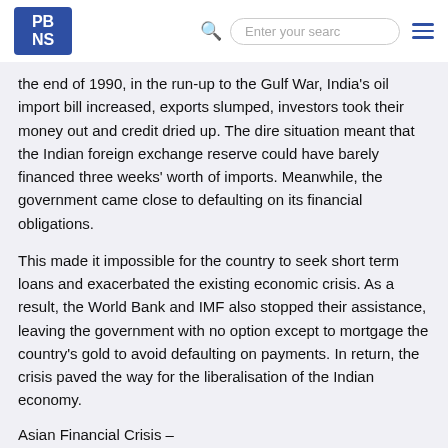PBNS [logo] — search bar — menu
the end of 1990, in the run-up to the Gulf War, India's oil import bill increased, exports slumped, investors took their money out and credit dried up. The dire situation meant that the Indian foreign exchange reserve could have barely financed three weeks' worth of imports. Meanwhile, the government came close to defaulting on its financial obligations.
This made it impossible for the country to seek short term loans and exacerbated the existing economic crisis. As a result, the World Bank and IMF also stopped their assistance, leaving the government with no option except to mortgage the country's gold to avoid defaulting on payments. In return, the crisis paved the way for the liberalisation of the Indian economy.
Asian Financial Crisis –
Asian Financial Crisis was caused by the collapse of the currency exchange rate. The countries that were most seriously affected by the Asian Financial Crisis included